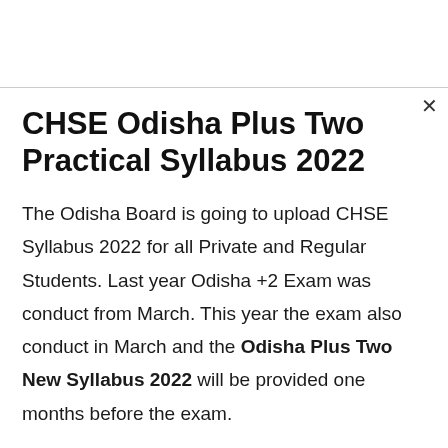CHSE Odisha Plus Two Practical Syllabus 2022
The Odisha Board is going to upload CHSE Syllabus 2022 for all Private and Regular Students. Last year Odisha +2 Exam was conduct from March. This year the exam also conduct in March and the Odisha Plus Two New Syllabus 2022 will be provided one months before the exam.